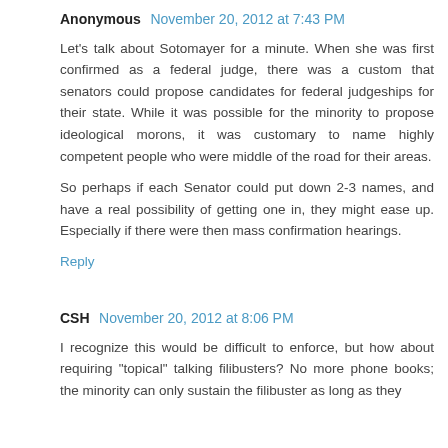Anonymous  November 20, 2012 at 7:43 PM
Let's talk about Sotomayer for a minute. When she was first confirmed as a federal judge, there was a custom that senators could propose candidates for federal judgeships for their state. While it was possible for the minority to propose ideological morons, it was customary to name highly competent people who were middle of the road for their areas.
So perhaps if each Senator could put down 2-3 names, and have a real possibility of getting one in, they might ease up. Especially if there were then mass confirmation hearings.
Reply
CSH  November 20, 2012 at 8:06 PM
I recognize this would be difficult to enforce, but how about requiring "topical" talking filibusters? No more phone books; the minority can only sustain the filibuster as long as they